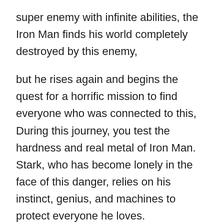super enemy with infinite abilities, the Iron Man finds his world completely destroyed by this enemy,
but he rises again and begins the quest for a horrific mission to find everyone who was connected to this, During this journey, you test the hardness and real metal of Iron Man. Stark, who has become lonely in the face of this danger, relies on his instinct, genius, and machines to protect everyone he loves.
During the battle, Stark begins to reveal the answer to the question that has kept him for many years, which is: Did the iron suit made it, or did he make it?